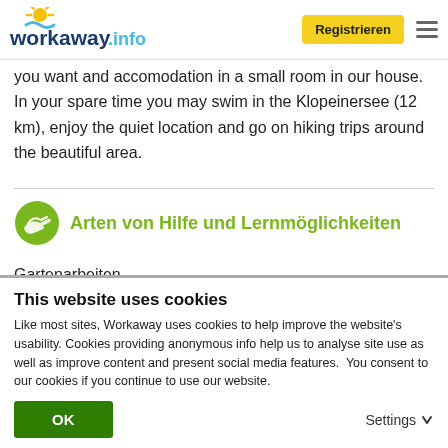workaway.info — Registrieren
you want and accomodation in a small room in our house. In your spare time you may swim in the Klopeinersee (12 km), enjoy the quiet location and go on hiking trips around the beautiful area.
Arten von Hilfe und Lernmöglichkeiten
Gartenarbeiten
Handwerkliche Arbeiten
Hausarbeiten
This website uses cookies
Like most sites, Workaway uses cookies to help improve the website's usability. Cookies providing anonymous info help us to analyse site use as well as improve content and present social media features.  You consent to our cookies if you continue to use our website.
OK    Settings